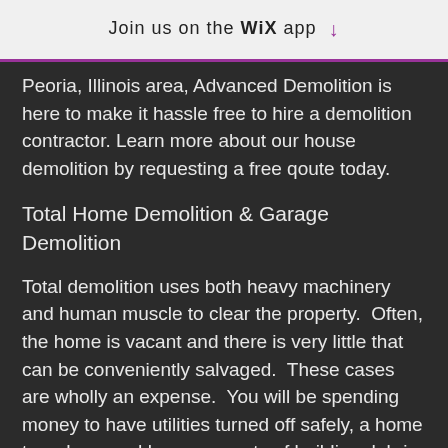Join us on the WiX app ↓
Peoria, Illinois area, Advanced Demolition is here to make it hassle free to hire a demolition contractor. Learn more about our house demolition by requesting a free qoute today.
Total Home Demolition & Garage Demolition
Total demolition uses both heavy machinery and human muscle to clear the property.  Often, the home is vacant and there is very little that can be conveniently salvaged.  These cases are wholly an expense.  You will be spending money to have utilities turned off safely, a home torn down and large amounts of building debris carted away to a landfill. Nothing or